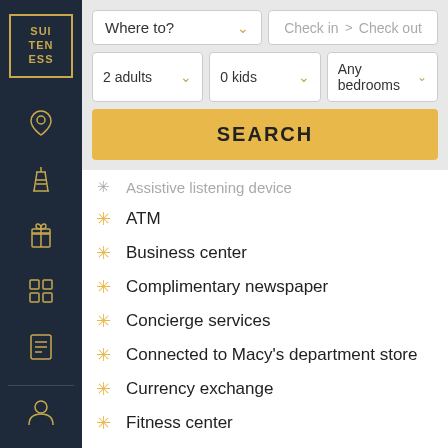[Figure (logo): Suiteness logo: gold bordered square with letters SUI TEN ESS on dark navy background]
[Figure (infographic): Sidebar navigation icons: location pin, tower/landmark, gift box, building grid, document list, user profile — all in gold on dark navy sidebar]
Where to? [dropdown]  Check in > Check out
2 adults [dropdown]  0 kids [dropdown]  Any bedrooms [dropdown]
SEARCH
Assistive listening device
ATM
Business center
Complimentary newspaper
Concierge services
Connected to Macy's department store
Currency exchange
Fitness center
Gift shop